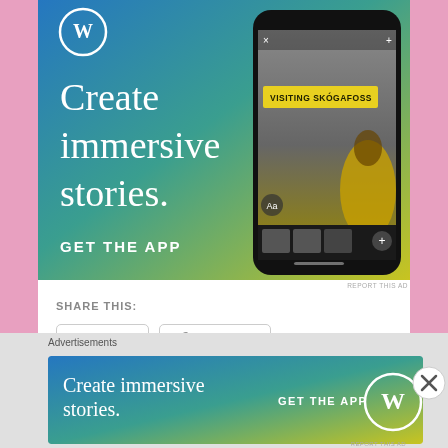[Figure (screenshot): WordPress app advertisement banner with blue-to-teal-to-yellow gradient background. Shows WordPress logo (W in circle) top left, text 'Create immersive stories.' on left, 'GET THE APP' button text, and a phone mockup on the right displaying a story editor with a waterfall photo and text 'VISITING SKÓGAFOSS'. The phone shows editing UI elements at the bottom.]
REPORT THIS AD
SHARE THIS:
Twitter  Facebook
Loading...
Advertisements
[Figure (screenshot): Smaller WordPress advertisement banner with same gradient (blue to teal to yellow). Text 'Create immersive stories.' on left, 'GET THE APP' text with WordPress logo circle on right.]
REPORT THIS AD